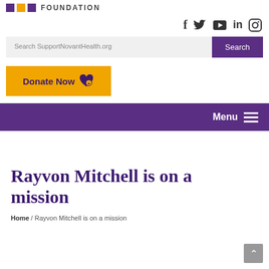FOUNDATION
[Figure (infographic): Social media icons: Facebook, Twitter, YouTube, LinkedIn, Instagram]
[Figure (screenshot): Search bar with placeholder 'Search SupportNovantHealth.org' and a purple 'Search' button]
[Figure (infographic): Yellow 'Donate Now' button with heart icon]
[Figure (infographic): Purple navigation bar with 'Menu' label and hamburger icon on the right]
Rayvon Mitchell is on a mission
Home / Rayvon Mitchell is on a mission